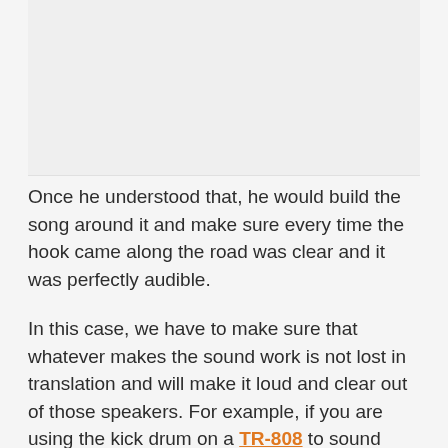[Figure (photo): Image placeholder at top of page, light gray background]
Once he understood that, he would build the song around it and make sure every time the hook came along the road was clear and it was perfectly audible.
In this case, we have to make sure that whatever makes the sound work is not lost in translation and will make it loud and clear out of those speakers. For example, if you are using the kick drum on a TR-808 to sound massively huge, you will have to implement the technique I am going to